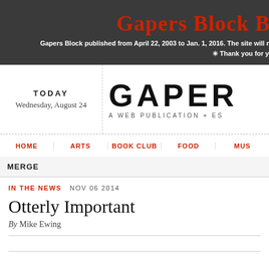Gapers Block B
Gapers Block published from April 22, 2003 to Jan. 1, 2016. The site will r
✳ Thank you for y
TODAY
Wednesday, August 24
[Figure (logo): GAPER (Gapers Block logo text, large bold condensed letters) A WEB PUBLICATION + ES]
HOME | ARTS | BOOK CLUB | FOOD | MUS
MERGE
IN THE NEWS  NOV 06 2014
Otterly Important
By Mike Ewing
article snippet text begins at bottom